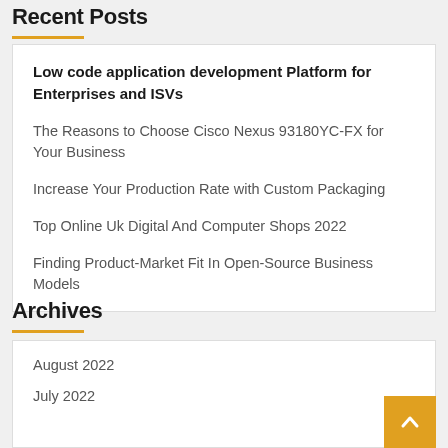Recent Posts
Low code application development Platform for Enterprises and ISVs
The Reasons to Choose Cisco Nexus 93180YC-FX for Your Business
Increase Your Production Rate with Custom Packaging
Top Online Uk Digital And Computer Shops 2022
Finding Product-Market Fit In Open-Source Business Models
Archives
August 2022
July 2022